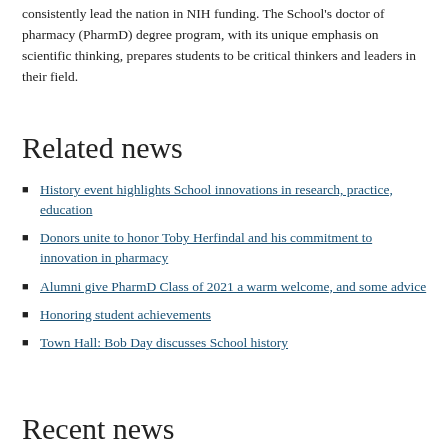consistently lead the nation in NIH funding. The School's doctor of pharmacy (PharmD) degree program, with its unique emphasis on scientific thinking, prepares students to be critical thinkers and leaders in their field.
Related news
History event highlights School innovations in research, practice, education
Donors unite to honor Toby Herfindal and his commitment to innovation in pharmacy
Alumni give PharmD Class of 2021 a warm welcome, and some advice
Honoring student achievements
Town Hall: Bob Day discusses School history
Recent news